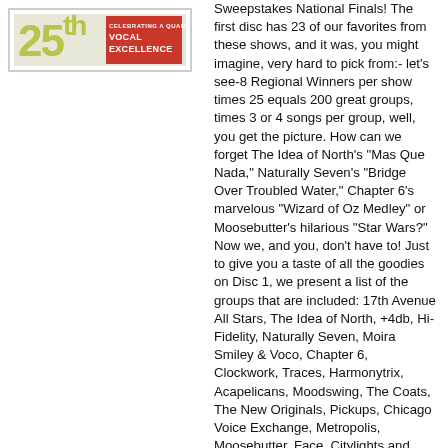[Figure (logo): 25th anniversary logo with text 'CELEBRATING A QUARTER CENTURY OF VOCAL EXCELLENCE']
Sweepstakes National Finals! The first disc has 23 of our favorites from these shows, and it was, you might imagine, very hard to pick from:- let's see-8 Regional Winners per show times 25 equals 200 great groups, times 3 or 4 songs per group, well, you get the picture. How can we forget The Idea of North's "Mas Que Nada," Naturally Seven's "Bridge Over Troubled Water," Chapter 6's marvelous "Wizard of Oz Medley" or Moosebutter's hilarious "Star Wars?" Now we, and you, don't have to! Just to give you a taste of all the goodies on Disc 1, we present a list of the groups that are included: 17th Avenue All Stars, The Idea of North, +4db, Hi-Fidelity, Naturally Seven, Moira Smiley & Voco, Chapter 6, Clockwork, Traces, Harmonytrix, Acapelicans, Moodswing, The Coats, The New Originals, Pickups, Chicago Voice Exchange, Metropolis, Moosebutter, Face, Citylights and SoVoSo. The second disc has 18 songs from the amazing 25th Anniversary Finals, featuring "Book of Love," "Cat is High" and "Ghost